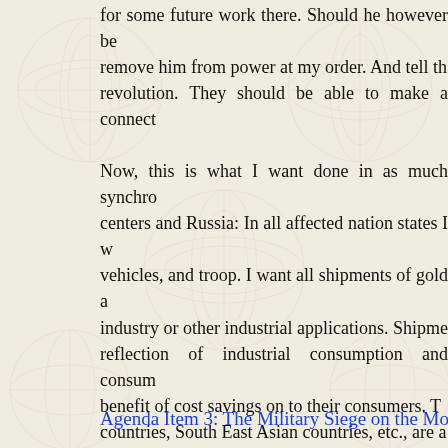for some future work there. Should he however be remove him from power at my order. And tell th revolution. They should be able to make a connect
Now, this is what I want done in as much synchro centers and Russia: In all affected nation states I w vehicles, and troop. I want all shipments of gold a industry or other industrial applications. Shipme reflection of industrial consumption and consum benefit of cost savings on to their consumers. T countries, South East Asian countries, etc., are a similar kind in their own countries. Do not allow That is all. Be dismissed for now.
Agenda Item 3: The Military Siege on the Money Syste